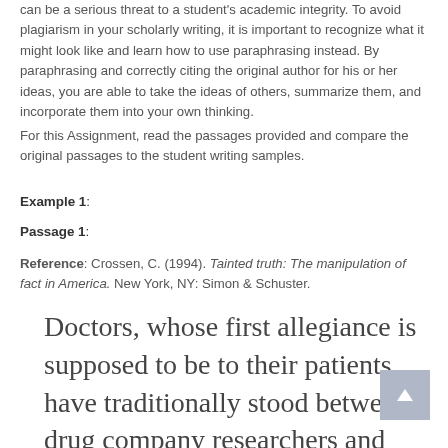can be a serious threat to a student's academic integrity. To avoid plagiarism in your scholarly writing, it is important to recognize what it might look like and learn how to use paraphrasing instead. By paraphrasing and correctly citing the original author for his or her ideas, you are able to take the ideas of others, summarize them, and incorporate them into your own thinking.
For this Assignment, read the passages provided and compare the original passages to the student writing samples.
Example 1:
Passage 1:
Reference: Crossen, C. (1994). Tainted truth: The manipulation of fact in America. New York, NY: Simon & Schuster.
Doctors, whose first allegiance is supposed to be to their patients, have traditionally stood between drug company researchers and trusting